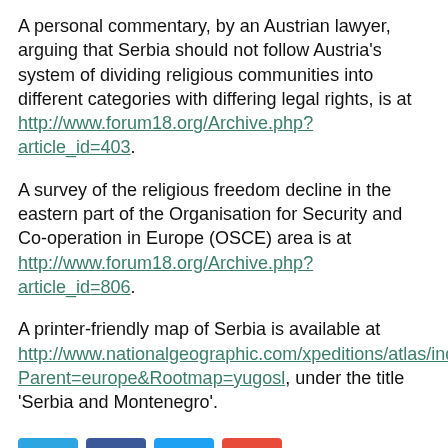A personal commentary, by an Austrian lawyer, arguing that Serbia should not follow Austria's system of dividing religious communities into different categories with differing legal rights, is at http://www.forum18.org/Archive.php?article_id=403.
A survey of the religious freedom decline in the eastern part of the Organisation for Security and Co-operation in Europe (OSCE) area is at http://www.forum18.org/Archive.php?article_id=806.
A printer-friendly map of Serbia is available at http://www.nationalgeographic.com/xpeditions/atlas/index.html?Parent=europe&Rootmap=yugosl, under the title 'Serbia and Montenegro'.
[Figure (infographic): Social share buttons: Telegram (blue), Facebook (dark blue), Twitter (light blue), Plus/share (red-orange). Below: PDF icon (red) and printer icon.]
Latest Analyses